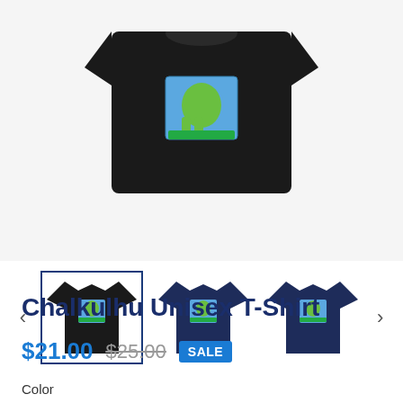[Figure (photo): Main product image: black t-shirt with Chalkulhu graphic design on front, shown partially cropped at top of page]
[Figure (photo): Thumbnail carousel with three t-shirt variants: black (selected, highlighted with blue border), navy front view, navy back view. Left and right navigation arrows visible.]
Chalkulhu Unisex T-Shirt
$21.00 $25.00 SALE
Color